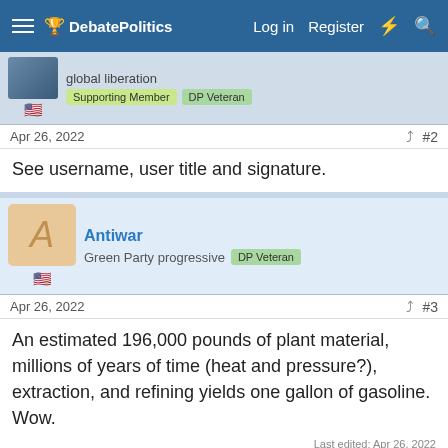DebatePolitics — Log in | Register
global liberation  Supporting Member  DP Veteran
Apr 26, 2022  #2
See username, user title and signature.
Antiwar
Green Party progressive  DP Veteran
Apr 26, 2022  #3
An estimated 196,000 pounds of plant material, millions of years of time (heat and pressure?), extraction, and refining yields one gallon of gasoline. Wow.
Last edited: Apr 26, 2022
This site uses cookies to help personalise content, tailor your experience and to keep you logged in if you register.
By continuing to use this site, you are consenting to our use of cookies.